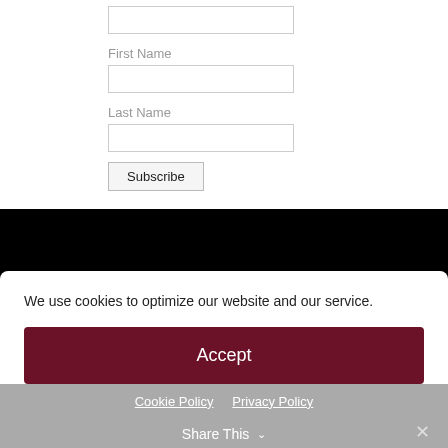First Name
Last Name
Subscribe
Links
We use cookies to optimize our website and our service.
Accept
Cookie Policy  Privacy Policy
Share This